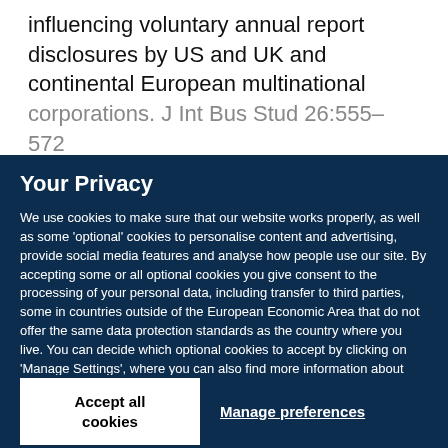influencing voluntary annual report disclosures by US and UK and continental European multinational corporations. J Int Bus Stud 26:555–572
Your Privacy
We use cookies to make sure that our website works properly, as well as some 'optional' cookies to personalise content and advertising, provide social media features and analyse how people use our site. By accepting some or all optional cookies you give consent to the processing of your personal data, including transfer to third parties, some in countries outside of the European Economic Area that do not offer the same data protection standards as the country where you live. You can decide which optional cookies to accept by clicking on 'Manage Settings', where you can also find more information about how your personal data is processed. Further information can be found in our privacy policy.
Accept all cookies
Manage preferences